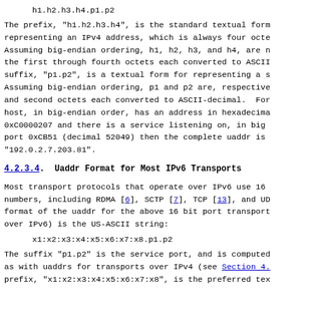h1.h2.h3.h4.p1.p2
The prefix, "h1.h2.h3.h4", is the standard textual form representing an IPv4 address, which is always four octe Assuming big-endian ordering, h1, h2, h3, and h4, are n the first through fourth octets each converted to ASCII suffix, "p1.p2", is a textual form for representing a s Assuming big-endian ordering, p1 and p2 are, respective and second octets each converted to ASCII-decimal.  For host, in big-endian order, has an address in hexadecima 0xC0000207 and there is a service listening on, in big port 0xCB51 (decimal 52049) then the complete uaddr is "192.0.2.7.203.81".
4.2.3.4.  Uaddr Format for Most IPv6 Transports
Most transport protocols that operate over IPv6 use 16 numbers, including RDMA [6], SCTP [7], TCP [13], and UD format of the uaddr for the above 16 bit port transport over IPv6) is the US-ASCII string:
x1:x2:x3:x4:x5:x6:x7:x8.p1.p2
The suffix "p1.p2" is the service port, and is computed as with uaddrs for transports over IPv4 (see Section 4. prefix, "x1:x2:x3:x4:x5:x6:x7:x8", is the preferred tex